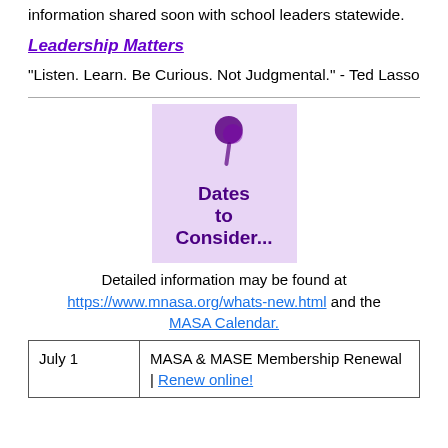information shared soon with school leaders statewide.
Leadership Matters
“Listen. Learn. Be Curious. Not Judgmental.” - Ted Lasso
[Figure (illustration): Purple sticky-note style image with a thumbtack/pin and the text 'Dates to Consider...' in dark purple bold font on a lavender background.]
Detailed information may be found at https://www.mnasa.org/whats-new.html and the MASA Calendar.
| July 1 | MASA & MASE Membership Renewal | Renew online! |